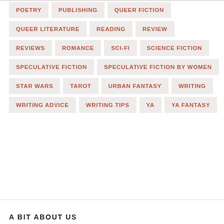POETRY
PUBLISHING
QUEER FICTION
QUEER LITERATURE
READING
REVIEW
REVIEWS
ROMANCE
SCI-FI
SCIENCE FICTION
SPECULATIVE FICTION
SPECULATIVE FICTION BY WOMEN
STAR WARS
TAROT
URBAN FANTASY
WRITING
WRITING ADVICE
WRITING TIPS
YA
YA FANTASY
A BIT ABOUT US